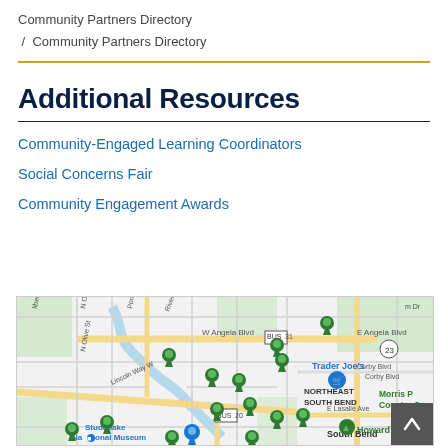Community Partners Directory
/ Community Partners Directory
Additional Resources
Community-Engaged Learning Coordinators
Social Concerns Fair
Community Engagement Awards
[Figure (map): Google Maps view of South Bend, Indiana area showing multiple green location pins marking community partner sites around E Angela Blvd, Lincoln Way W, and E Lasalle Ave. Landmarks include Trader Joe's, Studebaker National Museum, Howard Park, Morris P. Country C., and NORTHEAST SOUTH BEND neighborhood.]